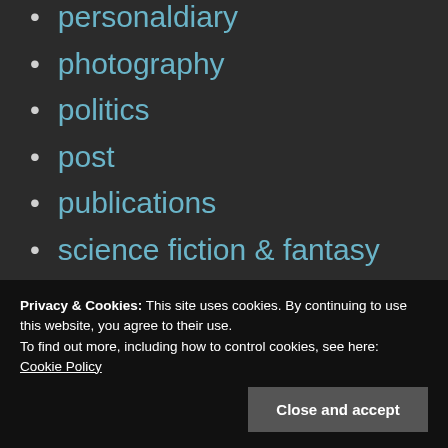personaldiary
photography
politics
post
publications
science fiction & fantasy
status
technology
travels
Uncategorized
university
Privacy & Cookies: This site uses cookies. By continuing to use this website, you agree to their use.
To find out more, including how to control cookies, see here:
Cookie Policy